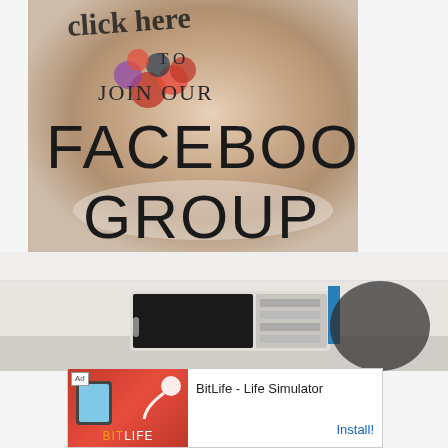[Figure (illustration): Promotional image with food/berries background and bold text overlay reading 'click here TO JOIN OUR FACEBOOK GROUP']
[Figure (photo): Partial photo of a microwave oven on a counter]
[Figure (screenshot): Mobile advertisement banner for BitLife - Life Simulator app with red background, sperm icon, phone mockup, app title and Install button]